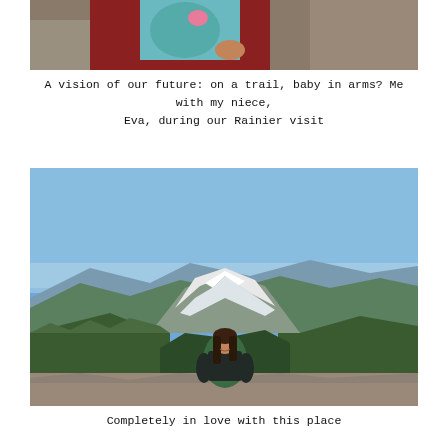[Figure (photo): Partial view of a person in a red long-sleeve shirt holding a baby in a teal jacket outdoors on a rocky trail]
A vision of our future: on a trail, baby in arms? Me with my niece, Eva, during our Rainier visit
[Figure (photo): A woman with long dark hair wearing a green top and dark vest sits on a rocky overlook with Mount Rainier snow-capped peak and forested mountain valleys in the background under a blue sky]
Completely in love with this place